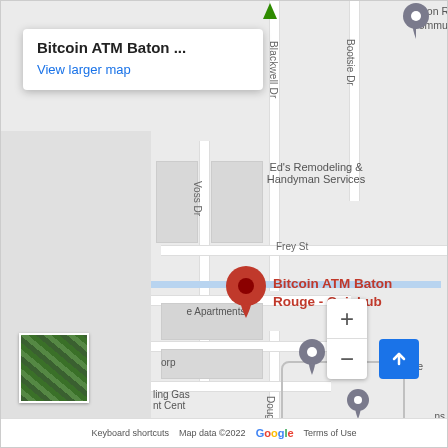[Figure (map): Google Maps screenshot showing Bitcoin ATM Baton Rouge - Coinhub location with red pin marker, street map with roads including Blackwell Dr, Voss Dr, Bootsie Dr, Dougherty Dr, Frey St. Shows nearby businesses Ed's Remodeling & Handyman Services and e Apartments. Info card in top left with place name and View larger map link. Zoom controls and satellite thumbnail visible.]
Bitcoin ATM Baton ... View larger map
Keyboard shortcuts   Map data ©2022   Terms of Use